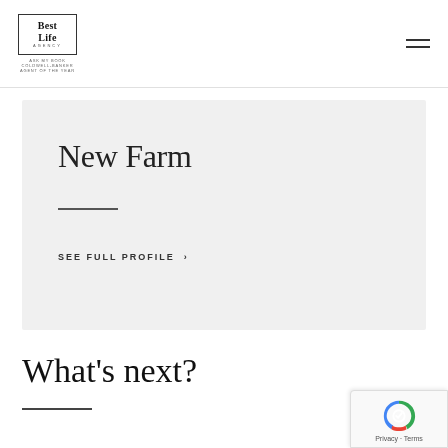[Figure (logo): Best Life Agency logo with text 'Best Life Agency' in a bordered box, with award text beneath]
New Farm
SEE FULL PROFILE ›
What's next?
[Figure (other): reCAPTCHA badge with Google reCAPTCHA icon and Privacy · Terms text]